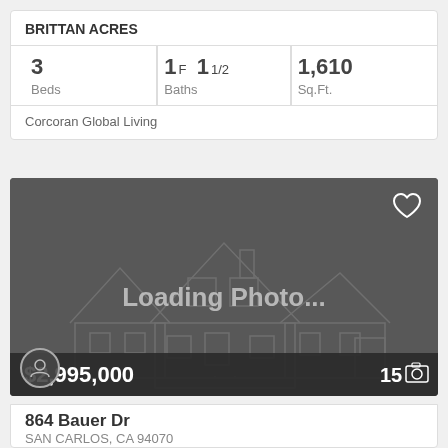BRITTAN ACRES
| Beds | Baths | Sq.Ft. |
| --- | --- | --- |
| 3 | 1F 11/2 | 1,610 |
Corcoran Global Living
[Figure (photo): Loading photo placeholder with house line illustration and 'Loading Photo...' text overlay. Price shown as $2,995,000. Photo count: 15.]
864 Bauer Dr
SAN CARLOS, CA 94070